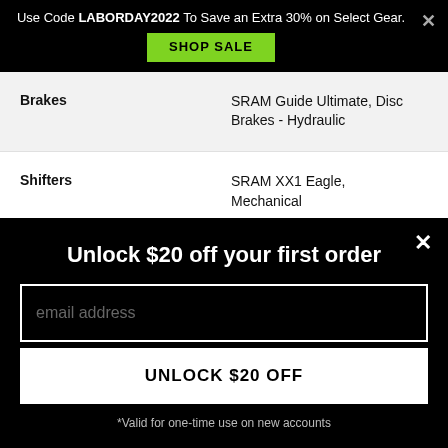Use Code LABORDAY2022 To Save an Extra 30% on Select Gear.
SHOP SALE
| Spec | Value |
| --- | --- |
| Brakes | SRAM Guide Ultimate, Disc Brakes - Hydraulic |
| Shifters | SRAM XX1 Eagle, Mechanical |
| Front Derailleur | N/A |
Unlock $20 off your first order
email address
UNLOCK $20 OFF
*Valid for one-time use on new accounts